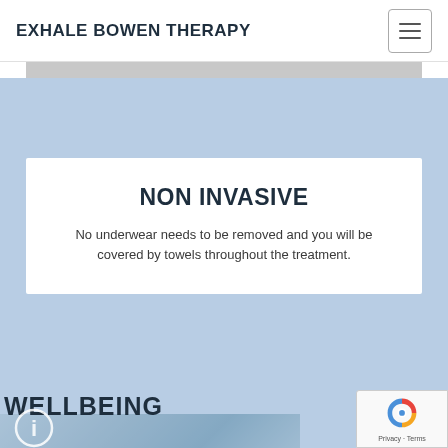EXHALE BOWEN THERAPY
NON INVASIVE
No underwear needs to be removed and you will be covered by towels throughout the treatment.
WELLBEING